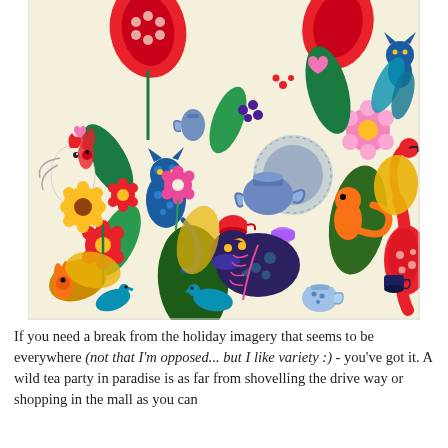[Figure (illustration): A colorful, densely packed folk-art style illustration featuring fantastical animals (cats, birds, rabbits, a bear/hippo), flowers, leaves, tea pots, tea cups, and other whimsical elements in bright red, blue, green, yellow, pink, and teal on a cream background. The scene depicts a wild tea party in paradise.]
If you need a break from the holiday imagery that seems to be everywhere (not that I'm opposed... but I like variety :) - you've got it. A wild tea party in paradise is as far from shovelling the drive way or shopping in the mall as you can